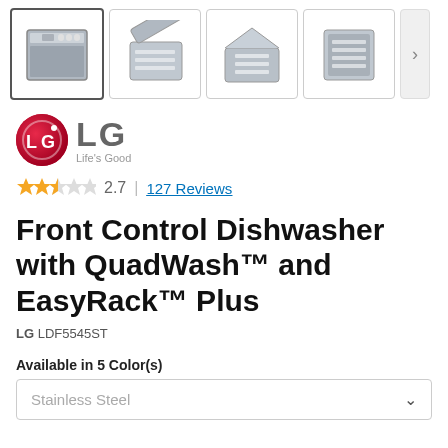[Figure (screenshot): Four product thumbnail images of LG dishwasher from different angles, with a right navigation arrow]
[Figure (logo): LG logo — red circle with LG letters inside, text 'LG' in grey, tagline 'Life's Good']
2.7 | 127 Reviews
Front Control Dishwasher with QuadWash™ and EasyRack™ Plus
LG LDF5545ST
Available in 5 Color(s)
Stainless Steel